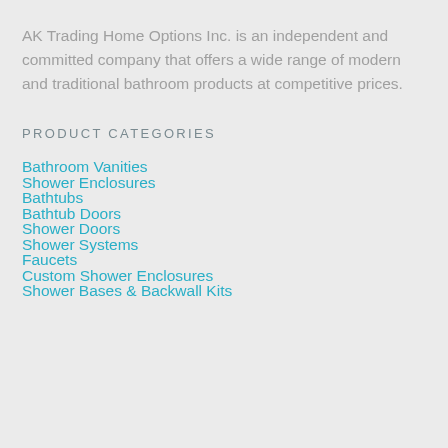AK Trading Home Options Inc. is an independent and committed company that offers a wide range of modern and traditional bathroom products at competitive prices.
PRODUCT CATEGORIES
Bathroom Vanities
Shower Enclosures
Bathtubs
Bathtub Doors
Shower Doors
Shower Systems
Faucets
Custom Shower Enclosures
Shower Bases & Backwall Kits